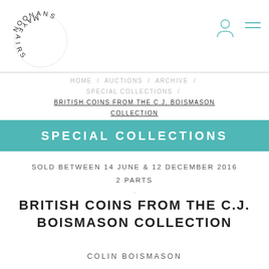[Figure (logo): Noonans Mayfair circular logo with text arranged in a circle]
HOME / AUCTIONS / ARCHIVE / SPECIAL COLLECTIONS / BRITISH COINS FROM THE C.J. BOISMASON COLLECTION
SPECIAL COLLECTIONS
SOLD BETWEEN 14 JUNE & 12 DECEMBER 2016
2 PARTS
BRITISH COINS FROM THE C.J. BOISMASON COLLECTION
COLIN BOISMASON